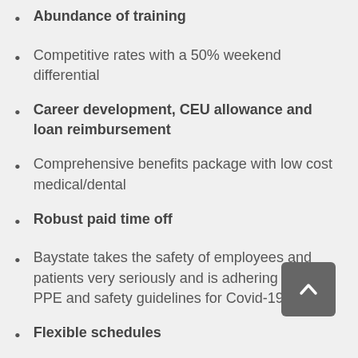Abundance of training
Competitive rates with a 50% weekend differential
Career development, CEU allowance and loan reimbursement
Comprehensive benefits package with low cost medical/dental
Robust paid time off
Baystate takes the safety of employees and patients very seriously and is adhering to all PPE and safety guidelines for Covid-19
Flexible schedules